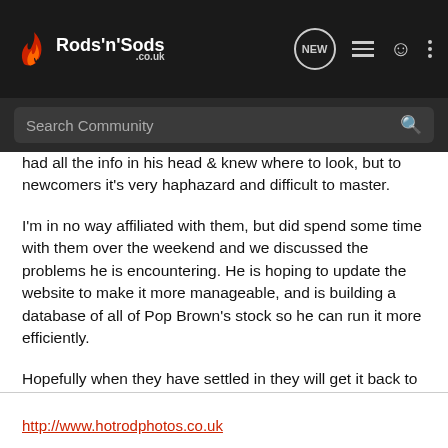Rods 'n' Sods
had all the info in his head & knew where to look, but to newcomers it's very haphazard and difficult to master.
I'm in no way affiliated with them, but did spend some time with them over the weekend and we discussed the problems he is encountering. He is hoping to update the website to make it more manageable, and is building a database of all of Pop Brown's stock so he can run it more efficiently.
Hopefully when they have settled in they will get it back to how it was for service. It will take a long time to gain even half of Kris's knowledge.
http://www.hotrodphotos.co.uk